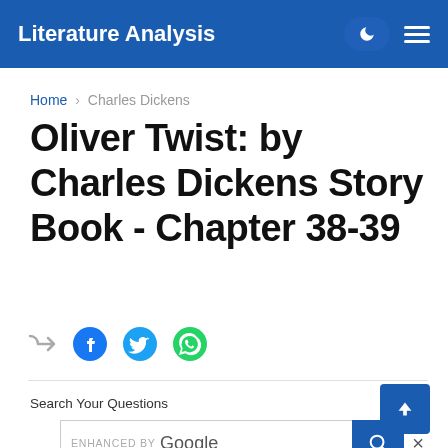Literature Analysis
Home › Charles Dickens
Oliver Twist: by Charles Dickens Story Book - Chapter 38-39
[Figure (other): Social sharing icons row: forward/share arrow, Facebook icon (blue), Twitter bird icon (blue), WhatsApp icon (green)]
Search Your Questions
[Figure (screenshot): Google search bar with 'ENHANCED BY Google' label, blue search button with magnifying glass icon, and X close button]